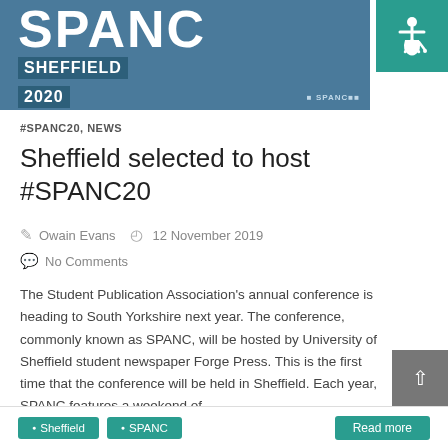[Figure (illustration): SPANC Sheffield 2020 conference banner with dark teal background, large white SPANC text, Sheffield and 2020 in highlighted boxes, and SPANC logo bottom right. Accessibility icon in teal box top right.]
#SPANC20, NEWS
Sheffield selected to host #SPANC20
Owain Evans   12 November 2019
No Comments
The Student Publication Association's annual conference is heading to South Yorkshire next year. The conference, commonly known as SPANC, will be hosted by University of Sheffield student newspaper Forge Press. This is the first time that the conference will be held in Sheffield. Each year, SPANC features a weekend of...
• Sheffield  • SPANC  Read more